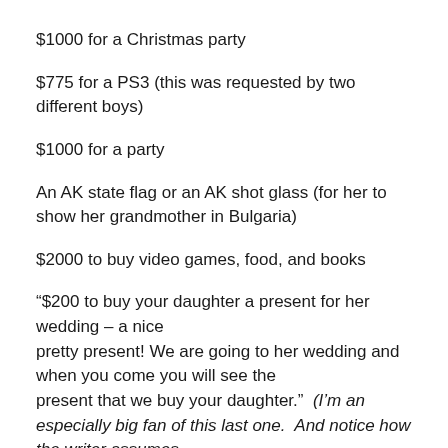$1000 for a Christmas party
$775 for a PS3 (this was requested by two different boys)
$1000 for a party
An AK state flag or an AK shot glass (for her to show her grandmother in Bulgaria)
$2000 to buy video games, food, and books
“$200 to buy your daughter a present for her wedding – a nice pretty present! We are going to her wedding and when you come you will see the present that we buy your daughter.”  (I’m an especially big fan of this last one.  And notice how the writer assumes that she and her classmates are going to my wedding?)